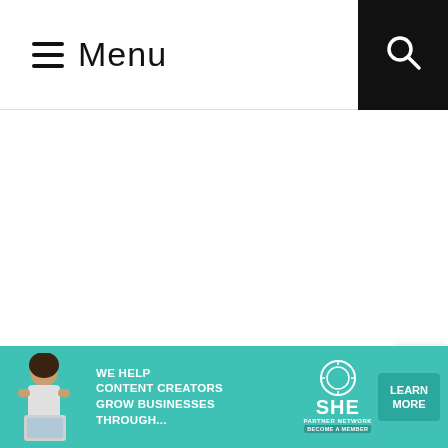≡ Menu
[Figure (screenshot): White empty main content area of a webpage]
[Figure (infographic): Close button (X) on the right side of a popup or overlay]
[Figure (infographic): Advertisement banner: teal background with a woman photo, text 'WE HELP CONTENT CREATORS GROW BUSINESSES THROUGH...', SHE Partner Network logo, LEARN MORE button]